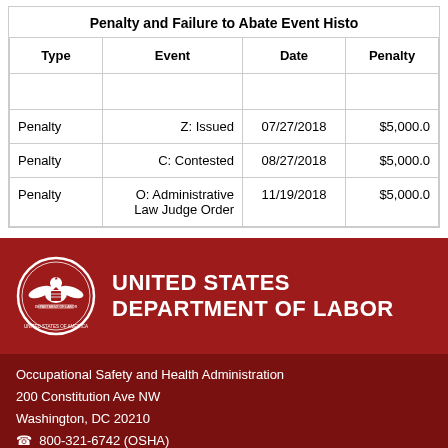| Type | Event | Date | Penalty |
| --- | --- | --- | --- |
| Penalty | Z: Issued | 07/27/2018 | $5,000.0 |
| Penalty | C: Contested | 08/27/2018 | $5,000.0 |
| Penalty | O: Administrative Law Judge Order | 11/19/2018 | $5,000.0 |
[Figure (logo): United States Department of Labor seal and wordmark on dark red background]
Occupational Safety and Health Administration
200 Constitution Ave NW
Washington, DC 20210
☎ 800-321-6742 (OSHA)
TTY